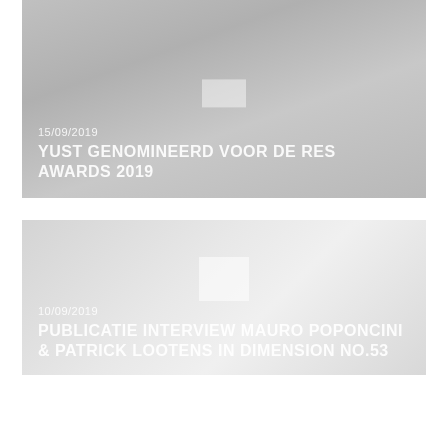[Figure (photo): Gray background card with date 15/09/2019 and title YUST GENOMINEERD VOOR DE RES AWARDS 2019, with a small light rectangle icon in upper center area]
15/09/2019
YUST GENOMINEERD VOOR DE RES AWARDS 2019
[Figure (photo): Light gray gradient background card with date 10/09/2019 and title PUBLICATIE INTERVIEW MAURO POPONCINI & PATRICK LOOTENS IN DIMENSION NO.53, with a small white rectangle icon in center]
10/09/2019
PUBLICATIE INTERVIEW MAURO POPONCINI & PATRICK LOOTENS IN DIMENSION NO.53